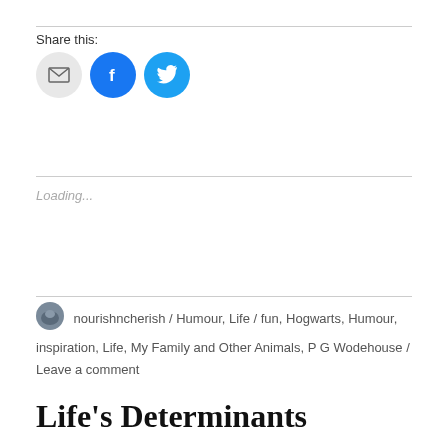Share this:
[Figure (infographic): Three social sharing icon buttons: email (grey circle with envelope), Facebook (blue circle with f logo), Twitter (light blue circle with bird logo)]
Loading...
nourishncherish / Humour, Life / fun, Hogwarts, Humour, inspiration, Life, My Family and Other Animals, P G Wodehouse / Leave a comment
Life's Determinants